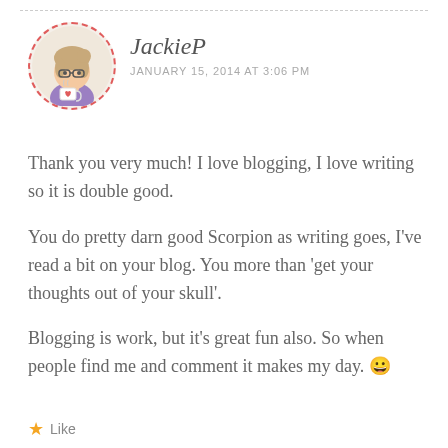[Figure (illustration): Circular avatar with dashed red border showing a cartoon illustration of a woman with glasses holding a mug]
JackieP
JANUARY 15, 2014 AT 3:06 PM
Thank you very much! I love blogging, I love writing so it is double good.
You do pretty darn good Scorpion as writing goes, I've read a bit on your blog. You more than 'get your thoughts out of your skull'.
Blogging is work, but it's great fun also. So when people find me and comment it makes my day. 🙂
Like